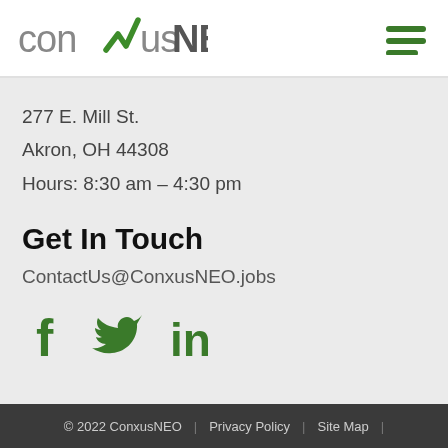[Figure (logo): ConxusNEO logo with green checkmark/X]
[Figure (other): Hamburger menu icon, three green horizontal lines]
277 E. Mill St.
Akron, OH 44308
Hours: 8:30 am – 4:30 pm
Get In Touch
ContactUs@ConxusNEO.jobs
[Figure (other): Social media icons: Facebook (f), Twitter (bird), LinkedIn (in) in green]
© 2022 ConxusNEO  |  Privacy Policy  |  Site Map  |